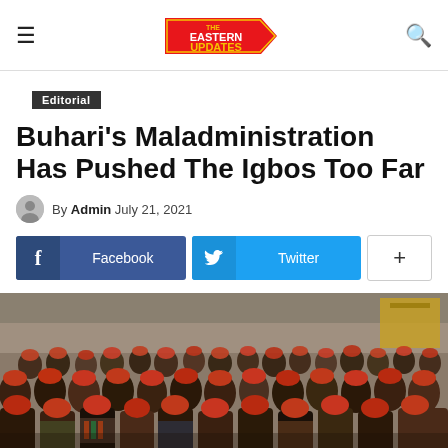The Eastern Updates
Editorial
Buhari's Maladministration Has Pushed The Igbos Too Far
By Admin July 21, 2021
[Figure (infographic): Social share buttons: Facebook and Twitter]
[Figure (photo): A large crowd of people wearing traditional red caps (Igbo men) seated at a gathering]